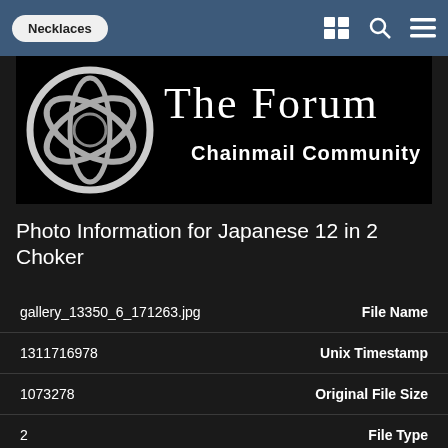Necklaces
[Figure (logo): The Forum Chainmail Community logo banner — black background with silver ring logo on left and stylized text 'The Forum' plus 'Chainmail Community' on right]
Photo Information for Japanese 12 in 2 Choker
| Value | Field |
| --- | --- |
| gallery_13350_6_171263.jpg | File Name |
| 1311716978 | Unix Timestamp |
| 1073278 | Original File Size |
| 2 | File Type |
| image/jpeg | Mime Type |